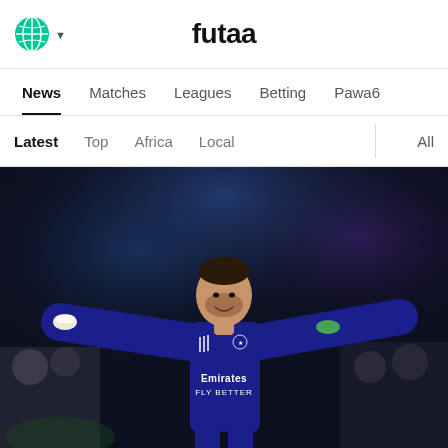futaa
News  Matches  Leagues  Betting  Pawa6
Latest  Top  Africa  Local  All
[Figure (photo): Football player in Real Madrid away navy blue Emirates FLY BETTER jersey, arms spread wide celebrating, UEFA Champions League match, stadium crowd in background]